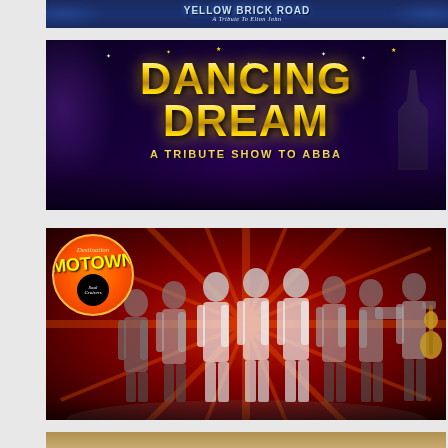[Figure (photo): Yellow Brick Road - A Tribute to Elton John banner, partially visible at top of page, dark blue concert background]
[Figure (photo): Dancing Dream - A Tribute Show to ABBA promotional image with gold glitter text on dark purple concert background with crowd silhouette]
[Figure (photo): Destination Motown featuring Soul Cruisers - promotional photo showing a large band of musicians in silver and white outfits on red background with circular orange Motown logo]
[Figure (photo): Partial image of another act at the very bottom of the page, barely visible]